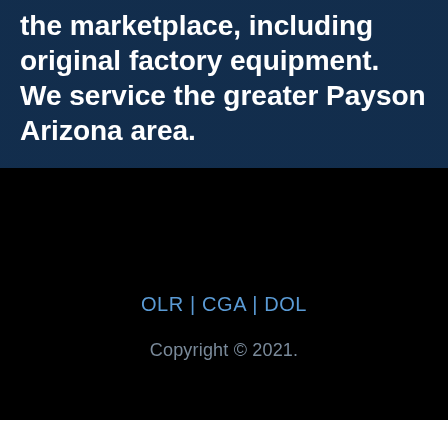the marketplace, including original factory equipment. We service the greater Payson Arizona area.
OLR | CGA | DOL
Copyright © 2021.